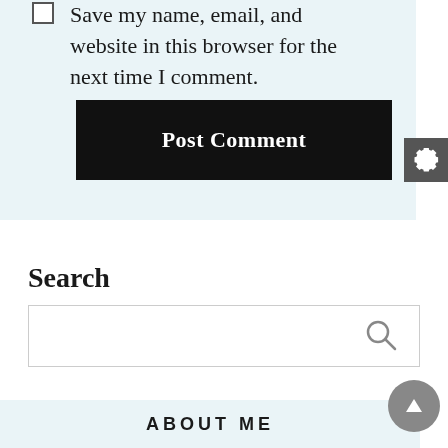Save my name, email, and website in this browser for the next time I comment.
Post Comment
Search
ABOUT ME